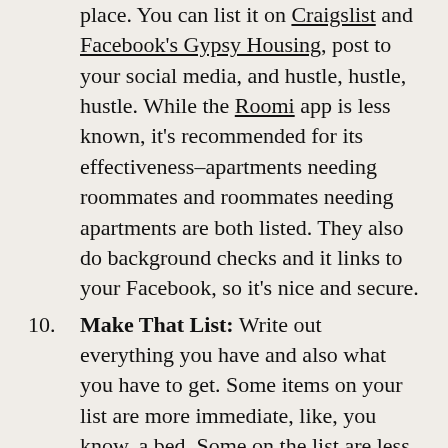place. You can list it on Craigslist and Facebook's Gypsy Housing, post to your social media, and hustle, hustle, hustle. While the Roomi app is less known, it's recommended for its effectiveness–apartments needing roommates and roommates needing apartments are both listed. They also do background checks and it links to your Facebook, so it's nice and secure.
10. Make That List: Write out everything you have and also what you have to get. Some items on your list are more immediate, like, you know, a bed. Some on the list are less urgent, like utensils, and a toilet brush/plunger- although you should definitely have those...